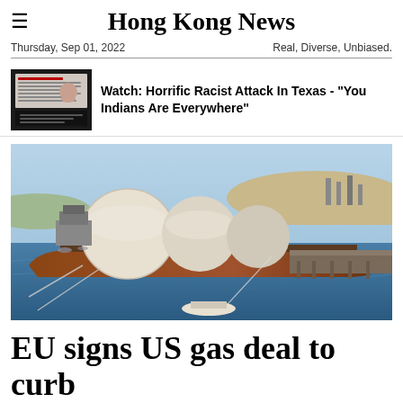Hong Kong News
Thursday, Sep 01, 2022    Real, Diverse, Unbiased.
Watch: Horrific Racist Attack In Texas - "You Indians Are Everywhere"
[Figure (photo): Aerial view of a large LNG tanker ship docked at a port facility with pipeline infrastructure extending along a pier, surrounded by blue water and coastal landscape.]
EU signs US gas deal to curb reliance on Russia